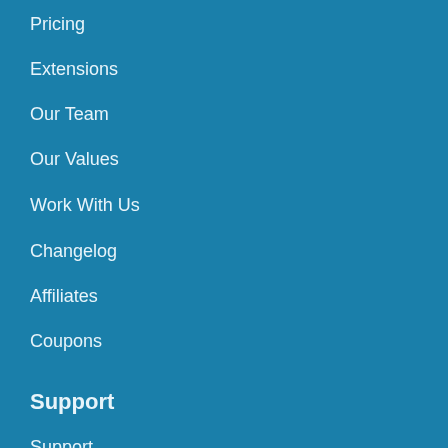Pricing
Extensions
Our Team
Our Values
Work With Us
Changelog
Affiliates
Coupons
Support
Support
Contact
Documentation